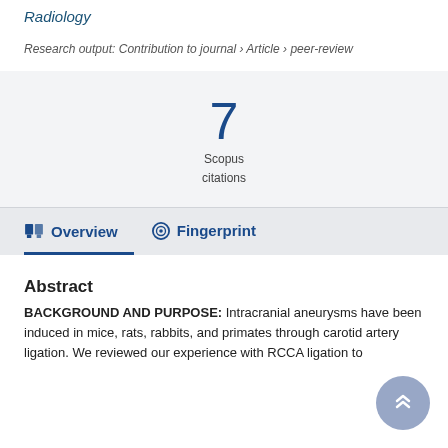Radiology
Research output: Contribution to journal › Article › peer-review
7
Scopus
citations
Overview   Fingerprint
Abstract
BACKGROUND AND PURPOSE: Intracranial aneurysms have been induced in mice, rats, rabbits, and primates through carotid artery ligation. We reviewed our experience with RCCA ligation to